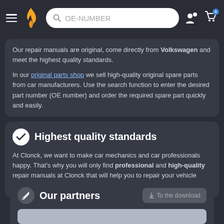OE-NUMBER (search bar navigation)
Our repair manuals are original, come directly from Volkswagen and meet the highest quality standards.

In our original parts shop we sell high-quality original spare parts from car manufacturers. Use the search function to enter the desired part number (OE number) and order the required spare part quickly and easily.
Highest quality standards
At Clonck, we want to make car mechanics and car professionals happy. That's why you will only find professional and high-quality repair manuals at Clonck that will help you to repair your vehicle professionally.
Our partners